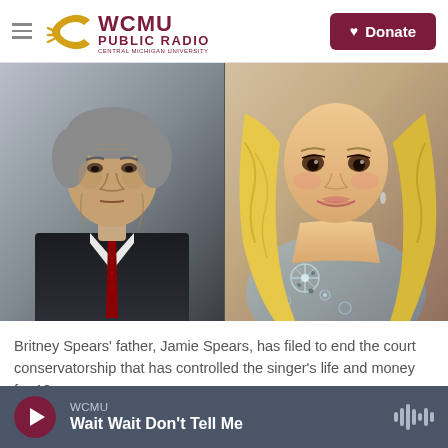WCMU PUBLIC RADIO — Central Michigan University | Donate
[Figure (photo): Split photo: on the left, an older man in a dark suit and red tie with grey hair looking serious; on the right, a blonde woman in a sparkly/beaded dress smiling.]
Britney Spears' father, Jamie Spears, has filed to end the court conservatorship that has controlled the singer's life and money for 13 years.
WCMU | Wait Wait Don't Tell Me